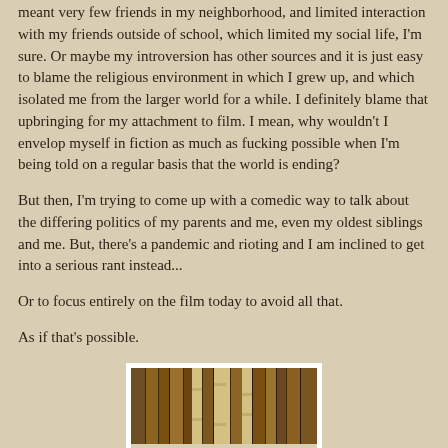meant very few friends in my neighborhood, and limited interaction with my friends outside of school, which limited my social life, I'm sure. Or maybe my introversion has other sources and it is just easy to blame the religious environment in which I grew up, and which isolated me from the larger world for a while. I definitely blame that upbringing for my attachment to film. I mean, why wouldn't I envelop myself in fiction as much as fucking possible when I'm being told on a regular basis that the world is ending?
But then, I'm trying to come up with a comedic way to talk about the differing politics of my parents and me, even my oldest siblings and me. But, there's a pandemic and rioting and I am inclined to get into a serious rant instead...
Or to focus entirely on the film today to avoid all that.
As if that's possible.
[Figure (photo): A photograph of book spines arranged in a row, showing brown/wooden toned book bindings with some light-colored text on the spines.]